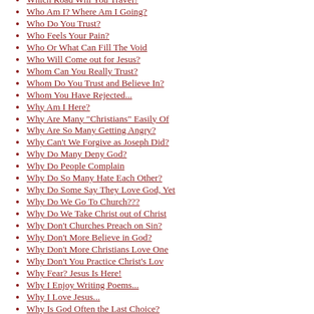Which Road Will You Travel?
Who Am I? Where Am I Going?
Who Do You Trust?
Who Feels Your Pain?
Who Or What Can Fill The Void
Who Will Come out for Jesus?
Whom Can You Really Trust?
Whom Do You Trust and Believe In?
Whom You Have Rejected...
Why Am I Here?
Why Are Many "Christians" Easily Of
Why Are So Many Getting Angry?
Why Can't We Forgive as Joseph Did?
Why Do Many Deny God?
Why Do People Complain
Why Do So Many Hate Each Other?
Why Do Some Say They Love God, Yet
Why Do We Go To Church???
Why Do We Take Christ out of Christ
Why Don't Churches Preach on Sin?
Why Don't More Believe in God?
Why Don't More Christians Love One
Why Don't You Practice Christ's Lov
Why Fear? Jesus Is Here!
Why I Enjoy Writing Poems...
Why I Love Jesus...
Why Is God Often the Last Choice?
Why Is It So Many Refuse God
Why Not Call On Jesus?
Why Not Come to Christ?
Why Not Come To HIM?